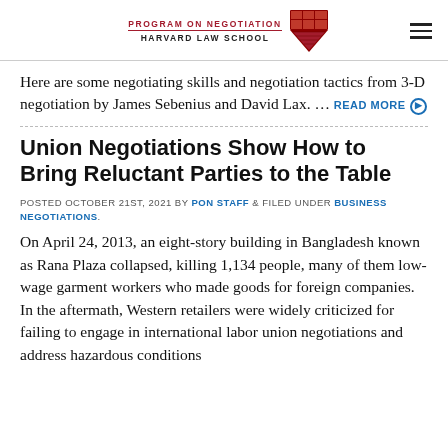PROGRAM ON NEGOTIATION HARVARD LAW SCHOOL
Here are some negotiating skills and negotiation tactics from 3-D negotiation by James Sebenius and David Lax. … READ MORE
Union Negotiations Show How to Bring Reluctant Parties to the Table
POSTED OCTOBER 21ST, 2021 BY PON STAFF & FILED UNDER BUSINESS NEGOTIATIONS.
On April 24, 2013, an eight-story building in Bangladesh known as Rana Plaza collapsed, killing 1,134 people, many of them low-wage garment workers who made goods for foreign companies. In the aftermath, Western retailers were widely criticized for failing to engage in international labor union negotiations and address hazardous conditions